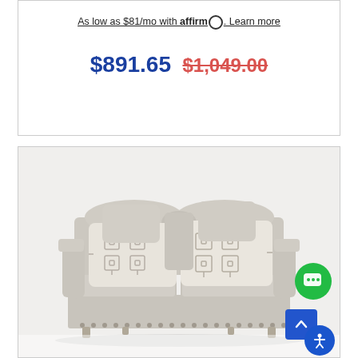As low as $81/mo with affirm. Learn more
$891.65  $1,049.00
[Figure (photo): Light gray fabric loveseat sofa with two large patterned throw pillows featuring a geometric diamond design, rolled arms, and nailhead trim on the base skirt. Two UI overlay buttons visible: a green chat bubble button and a blue scroll-to-top arrow button, and a blue accessibility icon.]